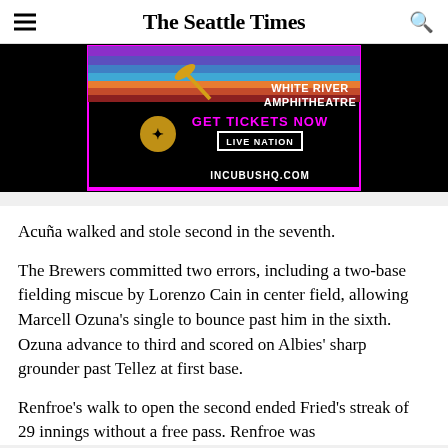The Seattle Times
[Figure (photo): Advertisement banner for Incubus at White River Amphitheatre. Black background with colorful stripes, a canoe paddle graphic, sunburst/crest symbol. Text reads: WHITE RIVER AMPHITHEATRE, GET TICKETS NOW, LIVE NATION, INCUBUSHQ.COM]
Acuña walked and stole second in the seventh.
The Brewers committed two errors, including a two-base fielding miscue by Lorenzo Cain in center field, allowing Marcell Ozuna's single to bounce past him in the sixth. Ozuna advance to third and scored on Albies' sharp grounder past Tellez at first base.
Renfroe's walk to open the second ended Fried's streak of 29 innings without a free pass. Renfroe was